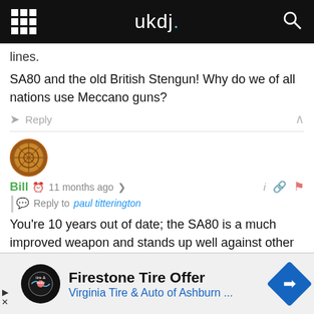ukdj.
lines.
SA80 and the old British Stengun! Why do we of all nations use Meccano guns?
Reply
Bill  11 months ago
Reply to paul titterington
You're 10 years out of date; the SA80 is a much improved weapon and stands up well against other examples.
Reply
Firestone Tire Offer
Virginia Tire & Auto of Ashburn ...